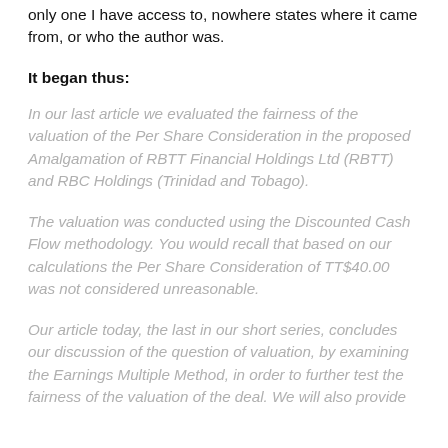only one I have access to, nowhere states where it came from, or who the author was.
It began thus:
In our last article we evaluated the fairness of the valuation of the Per Share Consideration in the proposed Amalgamation of RBTT Financial Holdings Ltd (RBTT) and RBC Holdings (Trinidad and Tobago).
The valuation was conducted using the Discounted Cash Flow methodology. You would recall that based on our calculations the Per Share Consideration of TT$40.00 was not considered unreasonable.
Our article today, the last in our short series, concludes our discussion of the question of valuation, by examining the Earnings Multiple Method, in order to further test the fairness of the valuation of the deal. We will also provide